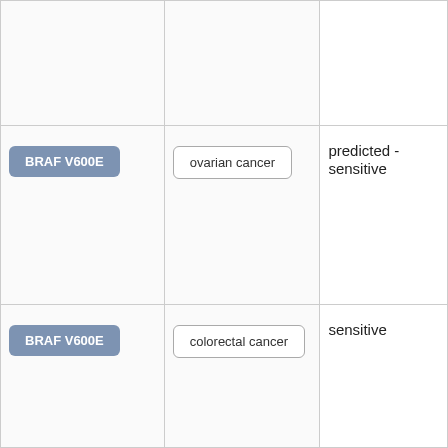| Variant | Cancer Type | Sensitivity |
| --- | --- | --- |
|  |  |  |
| BRAF V600E | ovarian cancer | predicted - sensitive |
| BRAF V600E | colorectal cancer | sensitive |